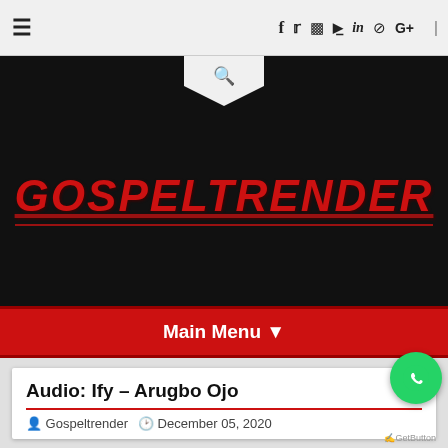≡  f  Twitter  Instagram  YouTube  in  Dribbble  G+  RSS
[Figure (screenshot): Black hero banner with GOSPELTRENDER logo in red italic bold underlined text, search icon notch at top center]
Main Menu ▼
Audio: Ify – Arugbo Ojo
Gospeltrender   December 05, 2020